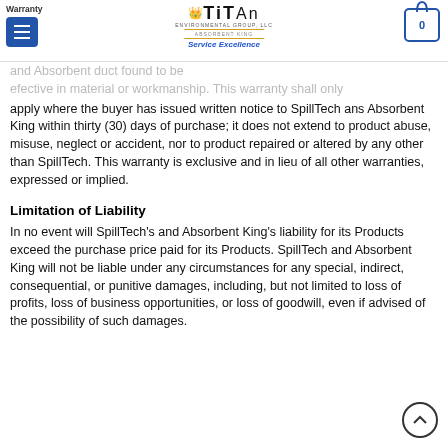Warranty — Titan Environmental Group, LLC — Service Excellence
apply where the buyer has issued written notice to SpillTech ans Absorbent King within thirty (30) days of purchase; it does not extend to product abuse, misuse, neglect or accident, nor to product repaired or altered by any other than SpillTech. This warranty is exclusive and in lieu of all other warranties, expressed or implied.
Limitation of Liability
In no event will SpillTech's and Absorbent King's liability for its Products exceed the purchase price paid for its Products. SpillTech and Absorbent King will not be liable under any circumstances for any special, indirect, consequential, or punitive damages, including, but not limited to loss of profits, loss of business opportunities, or loss of goodwill, even if advised of the possibility of such damages.